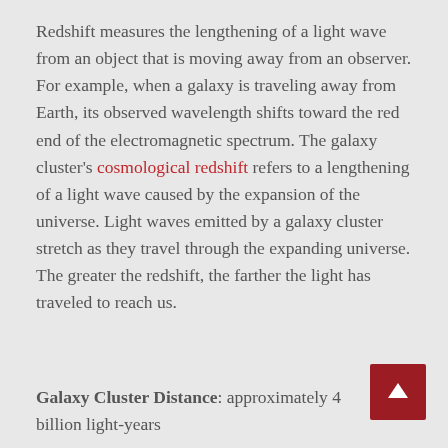Redshift measures the lengthening of a light wave from an object that is moving away from an observer. For example, when a galaxy is traveling away from Earth, its observed wavelength shifts toward the red end of the electromagnetic spectrum. The galaxy cluster's cosmological redshift refers to a lengthening of a light wave caused by the expansion of the universe. Light waves emitted by a galaxy cluster stretch as they travel through the expanding universe. The greater the redshift, the farther the light has traveled to reach us.
Galaxy Cluster Distance: approximately 4 billion light-years